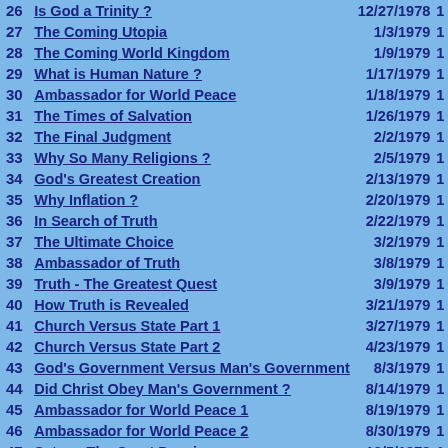| # | Title | Date | Pg |
| --- | --- | --- | --- |
| 26 | Is God a Trinity ? | 12/27/1978 | 1 |
| 27 | The Coming Utopia | 1/3/1979 | 1 |
| 28 | The Coming World Kingdom | 1/9/1979 | 1 |
| 29 | What is Human Nature ? | 1/17/1979 | 1 |
| 30 | Ambassador for World Peace | 1/18/1979 | 1 |
| 31 | The Times of Salvation | 1/26/1979 | 1 |
| 32 | The Final Judgment | 2/2/1979 | 1 |
| 33 | Why So Many Religions ? | 2/5/1979 | 1 |
| 34 | God's Greatest Creation | 2/13/1979 | 1 |
| 35 | Why Inflation ? | 2/20/1979 | 1 |
| 36 | In Search of Truth | 2/22/1979 | 1 |
| 37 | The Ultimate Choice | 3/2/1979 | 1 |
| 38 | Ambassador of Truth | 3/8/1979 | 1 |
| 39 | Truth - The Greatest Quest | 3/9/1979 | 1 |
| 40 | How Truth is Revealed | 3/21/1979 | 1 |
| 41 | Church Versus State Part 1 | 3/27/1979 | 1 |
| 42 | Church Versus State Part 2 | 4/23/1979 | 1 |
| 43 | God's Government Versus Man's Government | 8/3/1979 | 1 |
| 44 | Did Christ Obey Man's Government ? | 8/14/1979 | 1 |
| 45 | Ambassador for World Peace 1 | 8/19/1979 | 1 |
| 46 | Ambassador for World Peace 2 | 8/30/1979 | 1 |
| 47 | Satan - The Great Deceiver | 12/5/1979 | 1 |